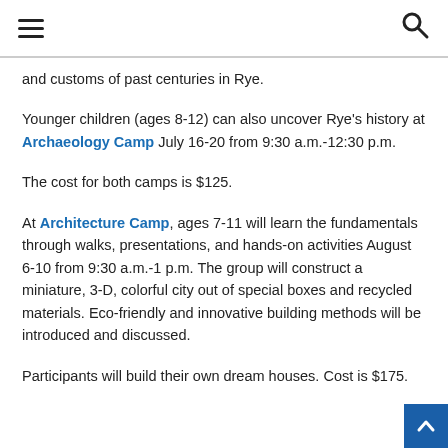Navigation header with hamburger menu and search icon
and customs of past centuries in Rye.
Younger children (ages 8-12) can also uncover Rye's history at Archaeology Camp July 16-20 from 9:30 a.m.-12:30 p.m.
The cost for both camps is $125.
At Architecture Camp, ages 7-11 will learn the fundamentals through walks, presentations, and hands-on activities August 6-10 from 9:30 a.m.-1 p.m. The group will construct a miniature, 3-D, colorful city out of special boxes and recycled materials. Eco-friendly and innovative building methods will be introduced and discussed.
Participants will build their own dream houses. Cost is $175.